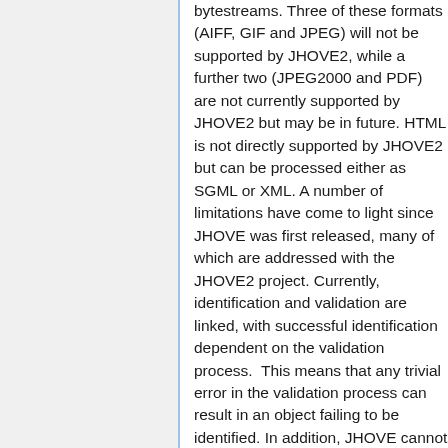bytestreams. Three of these formats (AIFF, GIF and JPEG) will not be supported by JHOVE2, while a further two (JPEG2000 and PDF) are not currently supported by JHOVE2 but may be in future. HTML is not directly supported by JHOVE2 but can be processed either as SGML or XML. A number of limitations have come to light since JHOVE was first released, many of which are addressed with the JHOVE2 project. Currently, identification and validation are linked, with successful identification dependent on the validation process.  This means that any trivial error in the validation process can result in an object failing to be identified. In addition, JHOVE cannot analyze objects that are comprised of multiple file formats. Developers have also remarked